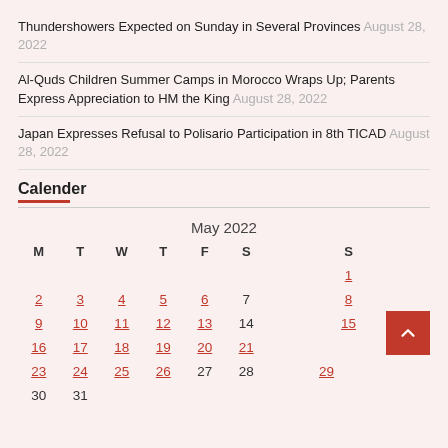Thundershowers Expected on Sunday in Several Provinces August 28, 2022
Al-Quds Children Summer Camps in Morocco Wraps Up; Parents Express Appreciation to HM the King August 28, 2022
Japan Expresses Refusal to Polisario Participation in 8th TICAD August 28, 2022
Calender
| M | T | W | T | F | S | S |
| --- | --- | --- | --- | --- | --- | --- |
|  |  |  |  |  |  | 1 |
| 2 | 3 | 4 | 5 | 6 | 7 | 8 |
| 9 | 10 | 11 | 12 | 13 | 14 | 15 |
| 16 | 17 | 18 | 19 | 20 | 21 | 22 |
| 23 | 24 | 25 | 26 | 27 | 28 | 29 |
| 30 | 31 |  |  |  |  |  |